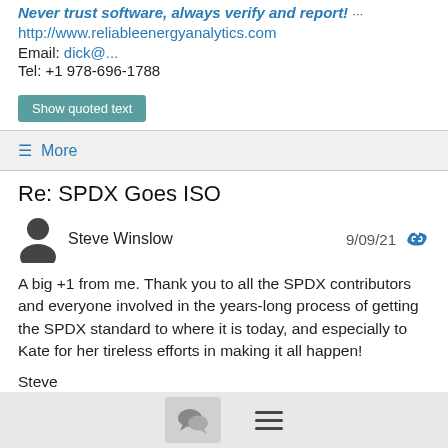Never trust software, always verify and report! ...
http://www.reliableenergyanalytics.com
Email: dick@...
Tel: +1 978-696-1788
Show quoted text
≡ More
Re: SPDX Goes ISO
Steve Winslow  9/09/21
A big +1 from me. Thank you to all the SPDX contributors and everyone involved in the years-long process of getting the SPDX standard to where it is today, and especially to Kate for her tireless efforts in making it all happen!
Steve